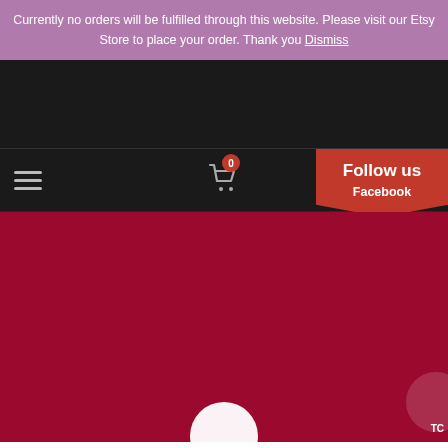Currently no orders will be fulfilled through this website. Please visit our Etsy Store to place your order. Thank you Dismiss
[Figure (screenshot): Dark navigation bar with hamburger menu on left, shopping cart icon with badge showing 0 in center, and red Follow us / Facebook dropdown button on right]
[Figure (photo): Deep red/crimson hero section background area, partially cut off, with a white circle element visible at the bottom center and partial UI elements at the bottom right corner]